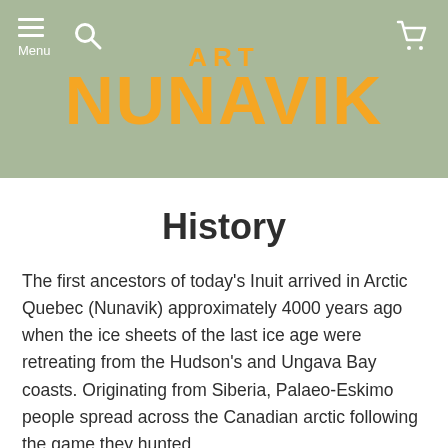ART NUNAVIK
History
The first ancestors of today's Inuit arrived in Arctic Quebec (Nunavik) approximately 4000 years ago when the ice sheets of the last ice age were retreating from the Hudson's and Ungava Bay coasts. Originating from Siberia, Palaeo-Eskimo people spread across the Canadian arctic following the game they hunted.
Their descendants, the Dorset people, adapted their way of life to the rigorous climate and meagre resources. Archaeologists have discovered oil lamps that date back to that era and were